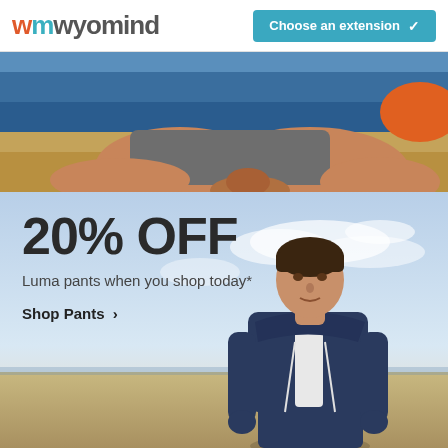wmwyomind — Choose an extension
[Figure (photo): Top banner photo showing legs of a seated person on a sandy beach, wearing gray athletic shorts and casual clothing, with ocean/water in background]
20% OFF
Luma pants when you shop today*
Shop Pants >
[Figure (photo): Promotional photo of a young man in a navy blue zip-up hoodie sweatshirt and white t-shirt, standing outdoors against a sky background with clouds and horizon]